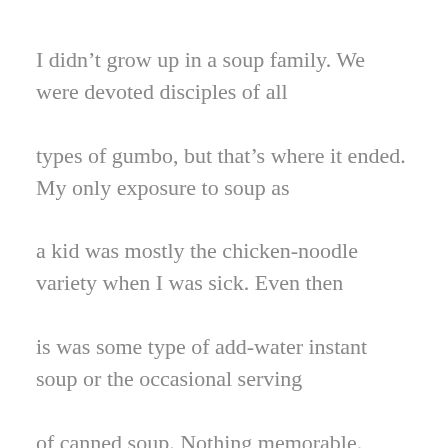I didn't grow up in a soup family. We were devoted disciples of all types of gumbo, but that's where it ended. My only exposure to soup as a kid was mostly the chicken-noodle variety when I was sick. Even then is was some type of add-water instant soup or the occasional serving of canned soup. Nothing memorable.